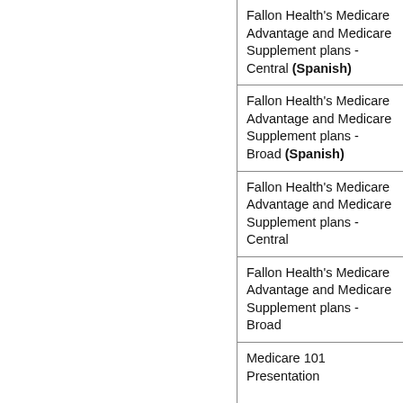Fallon Health's Medicare Advantage and Medicare Supplement plans - Central (Spanish)
Fallon Health's Medicare Advantage and Medicare Supplement plans - Broad (Spanish)
Fallon Health's Medicare Advantage and Medicare Supplement plans - Central
Fallon Health's Medicare Advantage and Medicare Supplement plans - Broad
Medicare 101 Presentation
Fallon Health's Medicare Advantage and Medicare Supplement plans - Central
Fallon Health's Medicare Advantage and Medicare Supplement plans - Broad